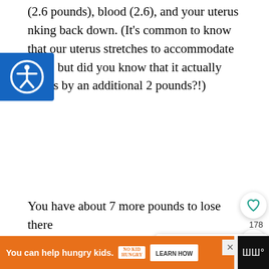(2.6 pounds), blood (2.6), and your uterus shrinking back down. (It's common to know that our uterus stretches to accommodate baby, but did you know that it actually grows by an additional 2 pounds?!)
You have about 7 more pounds to lose there
[Figure (photo): Food photo showing a bowl with vegetables, lime slices, and an apple on a light gray background with green leaves]
WHAT'S NEXT → The Best Breast Pum...
You can help hungry kids. NOKID HUNGRY LEARN HOW